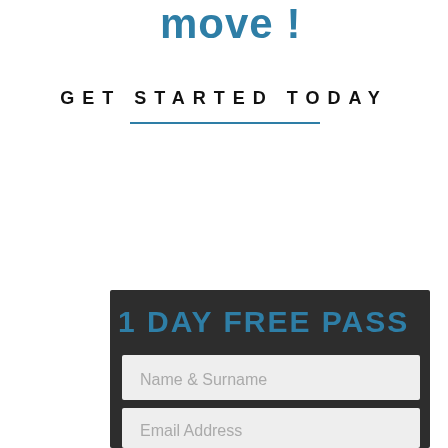move !
GET STARTED TODAY
[Figure (other): Horizontal blue decorative divider line]
1 DAY FREE PASS
Name & Surname
Email Address